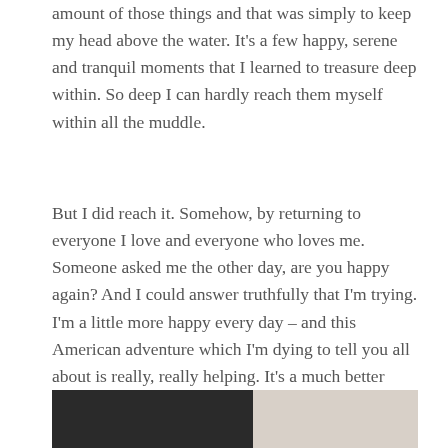amount of those things and that was simply to keep my head above the water. It's a few happy, serene and tranquil moments that I learned to treasure deep within. So deep I can hardly reach them myself within all the muddle.
But I did reach it. Somehow, by returning to everyone I love and everyone who loves me. Someone asked me the other day, are you happy again? And I could answer truthfully that I'm trying. I'm a little more happy every day – and this American adventure which I'm dying to tell you all about is really, really helping. It's a much better feeling than lying in bed feeling like my previous travels punished me for wanting to help others.
[Figure (photo): Partially visible photograph showing a dark figure wearing a cap on the left side, and buildings/cityscape on the right side against a light sky. Image is cropped at the bottom of the page.]